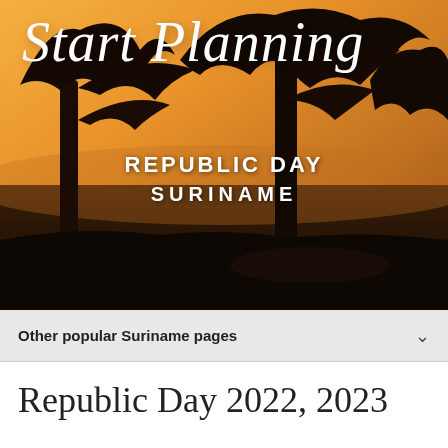[Figure (photo): Hero image with sunset/golden hour silhouette of trees against an orange sky, with white script text 'Start Planning' overlaid, and bold white text 'REPUBLIC DAY' and 'SURINAME' centered below]
Other popular Suriname pages
Republic Day 2022, 2023